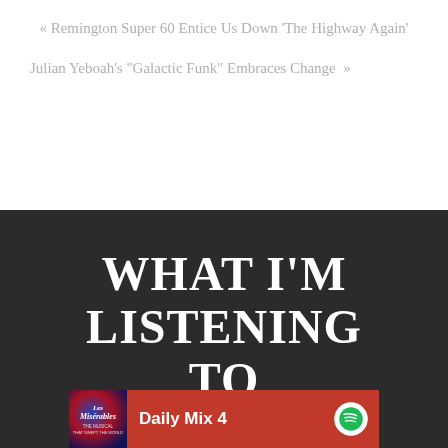« Remington Super 60 Entice Us Down ‘The Highway Again’
Julian Yeboah’s “Galactic Funk” Embraces Change »
WHAT I’M LISTENING TO
[Figure (screenshot): Spotify Daily Mix 4 bar showing Les Misérables album art and Spotify logo on dark red background]